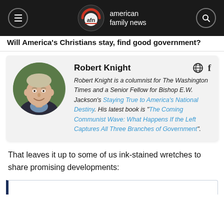american family news
Will America's Christians stay, find good government?
Robert Knight
Robert Knight is a columnist for The Washington Times and a Senior Fellow for Bishop E.W. Jackson's Staying True to America's National Destiny. His latest book is "The Coming Communist Wave: What Happens If the Left Captures All Three Branches of Government".
That leaves it up to some of us ink-stained wretches to share promising developments: